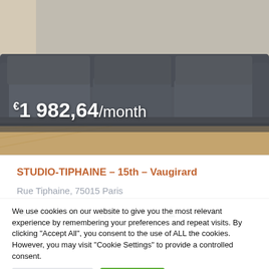[Figure (photo): Interior photo of a dark grey sofa/couch in a living room, with wooden flooring visible. Price overlay shown on the image.]
€1 982,64/month
STUDIO-TIPHAINE – 15th – Vaugirard
Rue Tiphaine, 75015 Paris
0 Bedroom(s)   1 Bath(s)   1 Guest(s)
Studio
We use cookies on our website to give you the most relevant experience by remembering your preferences and repeat visits. By clicking "Accept All", you consent to the use of ALL the cookies. However, you may visit "Cookie Settings" to provide a controlled consent.
Cookie Settings
Accept All